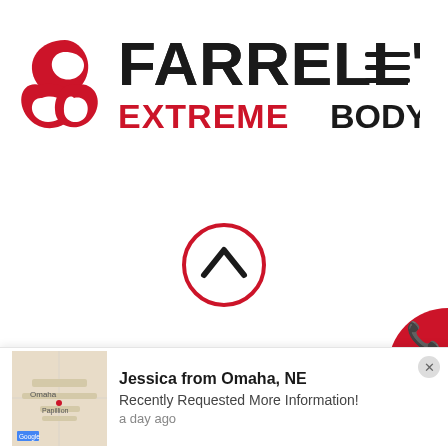[Figure (logo): Farrell's Extreme Bodyshaping logo at top of page, with red symbol on left and black/red text on right]
[Figure (other): Red circle with upward-pointing chevron arrow icon, centered on page]
[Figure (logo): Farrell's Extreme Bodyshaping logo, larger version in lower half of page]
[Figure (other): Red circular phone button in bottom-right corner]
[Figure (other): Social proof notification popup at bottom: map thumbnail of Omaha, NE on left, Jessica from Omaha NE Recently Requested More Information, a day ago]